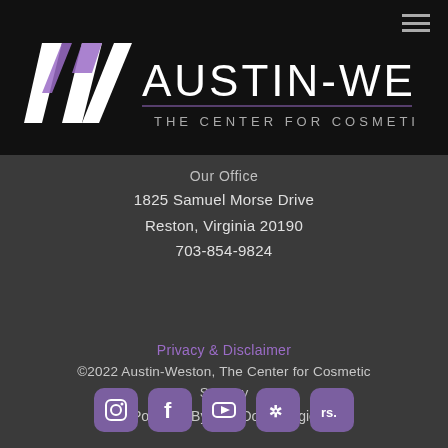[Figure (logo): Austin-Weston The Center for Cosmetic Surgery logo — stylized AW monogram with white and purple on black background, with text AUSTIN-WESTON and THE CENTER FOR COSMETIC SURGERY]
Our Office
1825 Samuel Morse Drive
Reston, Virginia 20190
703-854-9824
Privacy & Disclaimer
©2022 Austin-Weston, The Center for Cosmetic Surgery
Powered By DoctorLogic
[Figure (other): Social media icons row: Instagram, Facebook, YouTube, Yelp, RateMDs — all purple rounded square icons]